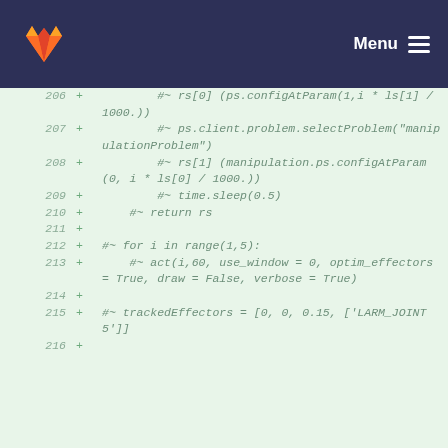GitLab — Menu
206 + #~ rs[0] (ps.configAtParam(1,i * ls[1] / 1000.))
207 + #~ ps.client.problem.selectProblem("manipulationProblem")
208 + #~ rs[1] (manipulation.ps.configAtParam(0, i * ls[0] / 1000.))
209 + #~ time.sleep(0.5)
210 + #~ return rs
211 +
212 + #~ for i in range(1,5):
213 + #~ act(i,60, use_window = 0, optim_effectors = True, draw = False, verbose = True)
214 +
215 + #~ trackedEffectors = [0, 0, 0.15, ['LARM_JOINT5']]
216 +